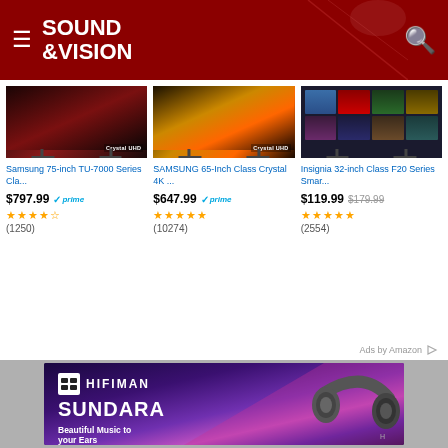SOUND &VISION
[Figure (screenshot): Amazon product ads showing three TVs: Samsung 75-inch TU-7000 Series, SAMSUNG 65-Inch Class Crystal 4K, Insignia 32-inch Class F20 Series Smart TV]
Samsung 75-inch TU-7000 Series Cla...
$797.99 prime
(1250)
SAMSUNG 65-Inch Class Crystal 4K ...
$647.99 prime
(10274)
Insignia 32-inch Class F20 Series Smar...
$119.99 $179.99
(2554)
Ads by Amazon
[Figure (infographic): HIFIMAN SUNDARA headphones advertisement. Dark purple/blue gradient background with headphones image. Text: HIFIMAN SUNDARA Beautiful Music to your Ears]